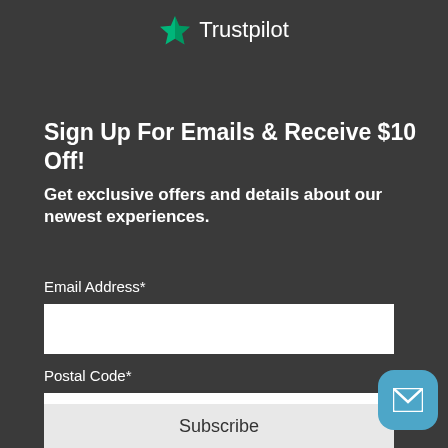[Figure (logo): Trustpilot logo with green star and white text]
Sign Up For Emails & Receive $10 Off!
Get exclusive offers and details about our newest experiences.
Email Address*
Postal Code*
* = required field
Subscribe